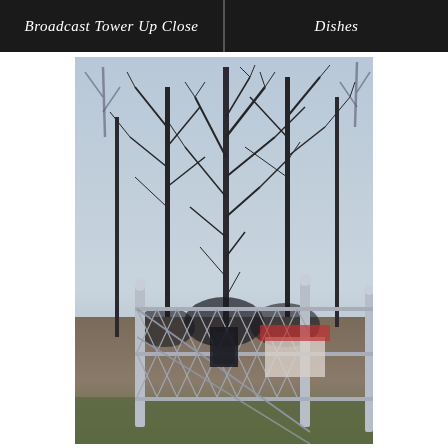Broadcast Tower Up Close
Dishes
[Figure (photo): Outdoor photo showing bare winter trees with dark branches against a overcast grey sky, with a chain-link fence in the foreground and a house visible in the background.]